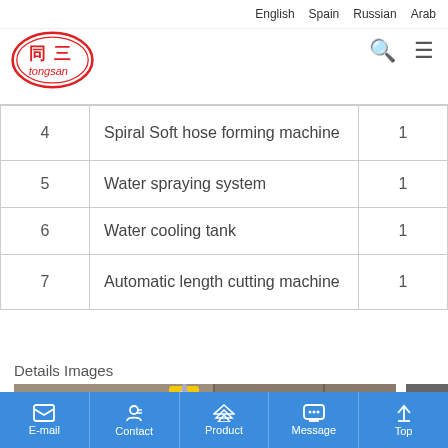English   Spain   Russian   Arab
[Figure (logo): Tongsan logo - red oval with Chinese characters 同三 and text 'tongsan' in red on white background]
| 4 | Spiral Soft hose forming machine | 1 |
| 5 | Water spraying system | 1 |
| 6 | Water cooling tank | 1 |
| 7 | Automatic length cutting machine | 1 |
Details Images
[Figure (photo): Photo of packaged machinery boxes with yellow component visible, red Chinese text on brown boxes]
E-mail   Contact   Product   Message   Top